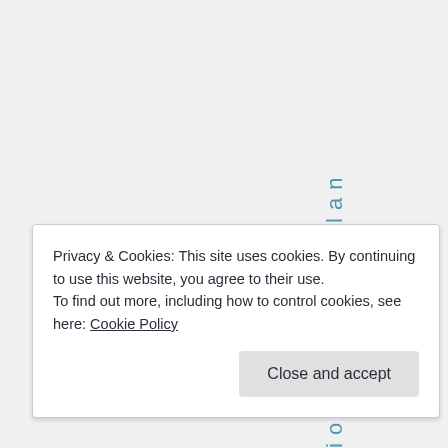ion, sex, Verlan
Privacy & Cookies: This site uses cookies. By continuing to use this website, you agree to their use.
To find out more, including how to control cookies, see here: Cookie Policy
Close and accept
n